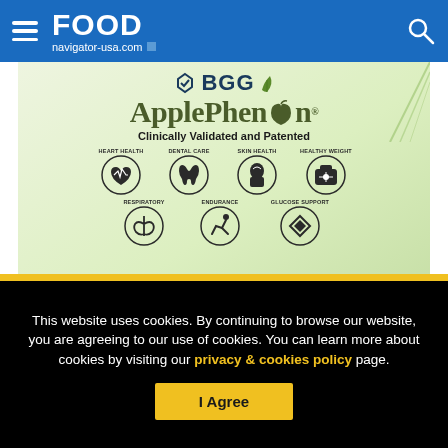FOOD navigator-usa.com
[Figure (advertisement): BGG ApplePhenon advertisement showing logo and health benefit icons: Heart Health, Dental Care, Skin Health, Healthy Weight, Respiratory, Endurance, Glucose Support. Text reads 'Clinically Validated and Patented']
This website uses cookies. By continuing to browse our website, you are agreeing to our use of cookies. You can learn more about cookies by visiting our privacy & cookies policy page.